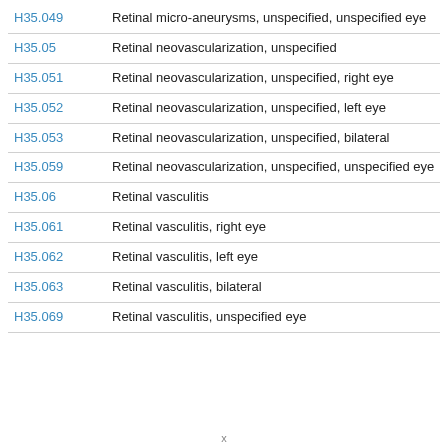| Code | Description |
| --- | --- |
| H35.049 | Retinal micro-aneurysms, unspecified, unspecified eye |
| H35.05 | Retinal neovascularization, unspecified |
| H35.051 | Retinal neovascularization, unspecified, right eye |
| H35.052 | Retinal neovascularization, unspecified, left eye |
| H35.053 | Retinal neovascularization, unspecified, bilateral |
| H35.059 | Retinal neovascularization, unspecified, unspecified eye |
| H35.06 | Retinal vasculitis |
| H35.061 | Retinal vasculitis, right eye |
| H35.062 | Retinal vasculitis, left eye |
| H35.063 | Retinal vasculitis, bilateral |
| H35.069 | Retinal vasculitis, unspecified eye |